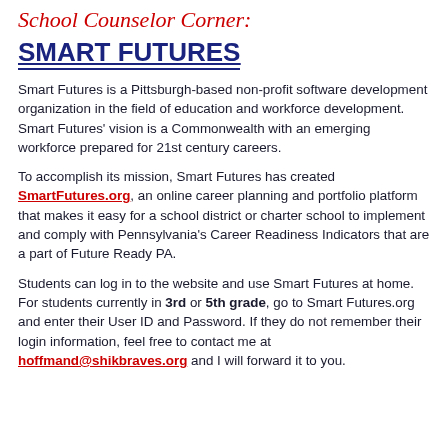School Counselor Corner:
SMART FUTURES
Smart Futures is a Pittsburgh-based non-profit software development organization in the field of education and workforce development. Smart Futures' vision is a Commonwealth with an emerging workforce prepared for 21st century careers.
To accomplish its mission, Smart Futures has created SmartFutures.org, an online career planning and portfolio platform that makes it easy for a school district or charter school to implement and comply with Pennsylvania's Career Readiness Indicators that are a part of Future Ready PA.
Students can log in to the website and use Smart Futures at home. For students currently in 3rd or 5th grade, go to Smart Futures.org and enter their User ID and Password. If they do not remember their login information, feel free to contact me at hoffmand@shikbraves.org and I will forward it to you.